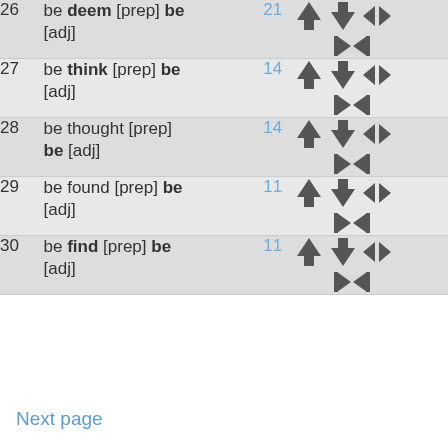| # | Pattern | Count | Actions |
| --- | --- | --- | --- |
| 26 | be deem [prep] be [adj] | 21 | icons |
| 27 | be think [prep] be [adj] | 14 | icons |
| 28 | be thought [prep] be [adj] | 14 | icons |
| 29 | be found [prep] be [adj] | 11 | icons |
| 30 | be find [prep] be [adj] | 11 | icons |
Next page